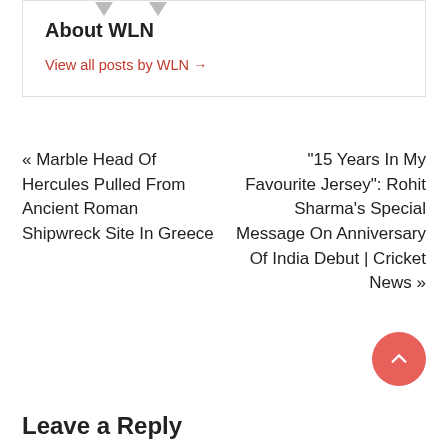About WLN
View all posts by WLN →
« Marble Head Of Hercules Pulled From Ancient Roman Shipwreck Site In Greece
"15 Years In My Favourite Jersey": Rohit Sharma's Special Message On Anniversary Of India Debut | Cricket News »
Leave a Reply